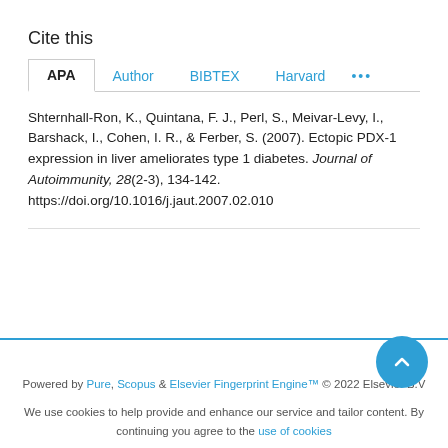Cite this
APA   Author   BIBTEX   Harvard   ...
Shternhall-Ron, K., Quintana, F. J., Perl, S., Meivar-Levy, I., Barshack, I., Cohen, I. R., & Ferber, S. (2007). Ectopic PDX-1 expression in liver ameliorates type 1 diabetes. Journal of Autoimmunity, 28(2-3), 134-142. https://doi.org/10.1016/j.jaut.2007.02.010
Powered by Pure, Scopus & Elsevier Fingerprint Engine™ © 2022 Elsevier B.V
We use cookies to help provide and enhance our service and tailor content. By continuing you agree to the use of cookies